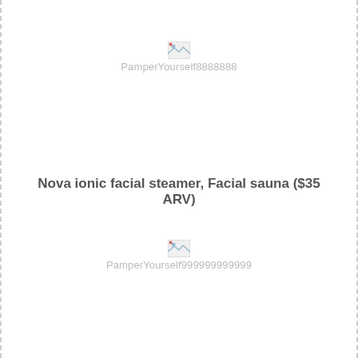[Figure (other): Broken image placeholder labeled PamperYourself8888888]
Nova ionic facial steamer, Facial sauna ($35 ARV)
[Figure (other): Broken image placeholder labeled PamperYourself999999999999]